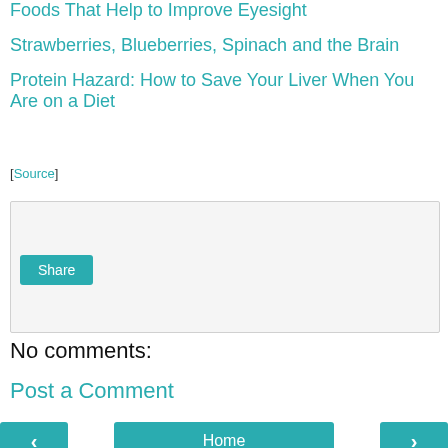Foods That Help to Improve Eyesight
Strawberries, Blueberries, Spinach and the Brain
Protein Hazard: How to Save Your Liver When You Are on a Diet
[Source]
[Figure (other): Comment text input area with Share button]
No comments:
Post a Comment
< Home >